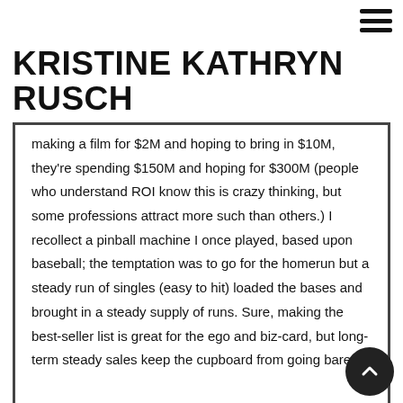KRISTINE KATHRYN RUSCH
making a film for $2M and hoping to bring in $10M, they're spending $150M and hoping for $300M (people who understand ROI know this is crazy thinking, but some professions attract more such than others.) I recollect a pinball machine I once played, based upon baseball; the temptation was to go for the homerun but a steady run of singles (easy to hit) loaded the bases and brought in a steady supply of runs. Sure, making the best-seller list is great for the ego and biz-card, but long-term steady sales keep the cupboard from going bare.